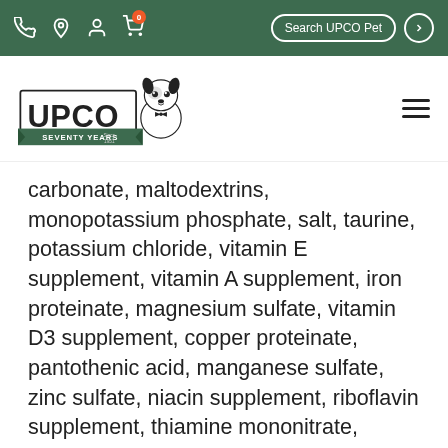Search UPCO Pet
[Figure (logo): UPCO Seventy Years logo with cartoon dog]
carbonate, maltodextrins, monopotassium phosphate, salt, taurine, potassium chloride, vitamin E supplement, vitamin A supplement, iron proteinate, magnesium sulfate, vitamin D3 supplement, copper proteinate, pantothenic acid, manganese sulfate, zinc sulfate, niacin supplement, riboflavin supplement, thiamine mononitrate, calcium iodate, pyridoxine hydrochloride, folic acid, vitamin B12 supplement.
The calorie content (ME) is 5,130 kcal/kg or